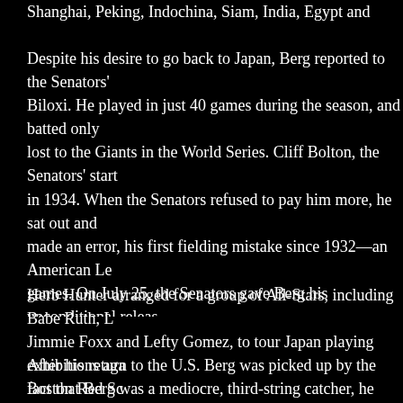Shanghai, Peking, Indochina, Siam, India, Egypt and Berlin.
Despite his desire to go back to Japan, Berg reported to the Senators' Biloxi. He played in just 40 games during the season, and batted only lost to the Giants in the World Series. Cliff Bolton, the Senators' start in 1934. When the Senators refused to pay him more, he sat out and made an error, his first fielding mistake since 1932—an American Le games. On July 25, the Senators gave Berg his unconditional releas however, after Cleveland Indians catcher Glenn Myatt broke his ankl Johnson, who had managed Berg in 1932, offered Berg the reserve c Frankie Pytlak, Cleveland's starting catcher, injured himself, and Ber
Herb Hunter arranged for a group of All-Stars, including Babe Ruth, L Jimmie Foxx and Lefty Gomez, to tour Japan playing exhibitions aga fact that Berg was a mediocre, third-string catcher, he was invited at items Berg took with him to Japan were a 16-mm Bell & Howell movi a New York City newsreel production company with which Berg had c the team arrived in Japan, he gave a welcome speech in Japanese a
After his return to the U.S. Berg was picked up by the Boston Red Sc Berg averaged fewer than 30 games a season. On February 21, 193